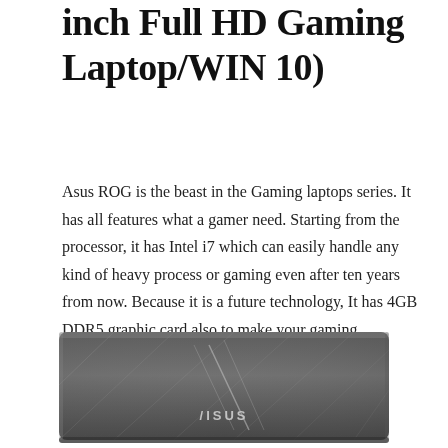inch Full HD Gaming Laptop/WIN 10)
Asus ROG is the beast in the Gaming laptops series. It has all features what a gamer need. Starting from the processor, it has Intel i7 which can easily handle any kind of heavy process or gaming even after ten years from now. Because it is a future technology, It has 4GB DDR5 graphic card also to make your gaming experience smooth as butter. If budget is not your concern, then you should buy this.
[Figure (photo): Photo of an ASUS ROG gaming laptop, viewed from the back/top, showing the dark grey lid with ASUS logo at the bottom]